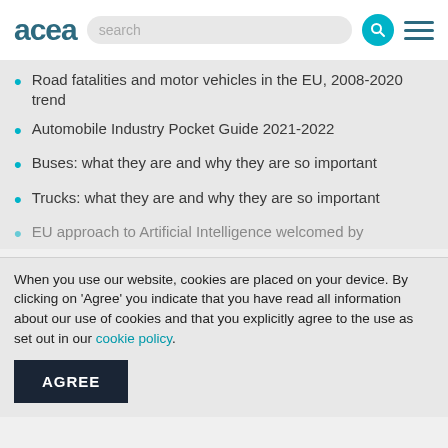acea
Road fatalities and motor vehicles in the EU, 2008-2020 trend
Automobile Industry Pocket Guide 2021-2022
Buses: what they are and why they are so important
Trucks: what they are and why they are so important
EU approach to Artificial Intelligence welcomed by
When you use our website, cookies are placed on your device. By clicking on 'Agree' you indicate that you have read all information about our use of cookies and that you explicitly agree to the use as set out in our cookie policy.
AGREE